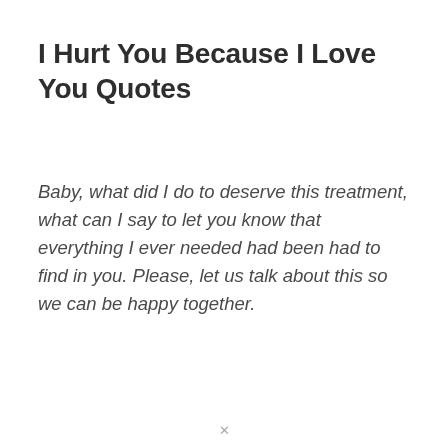I Hurt You Because I Love You Quotes
Baby, what did I do to deserve this treatment, what can I say to let you know that everything I ever needed had been had to find in you. Please, let us talk about this so we can be happy together.